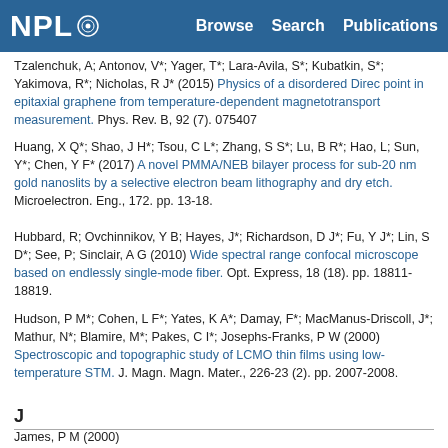NPL | Browse  Search  Publications
Tzalenchuk, A; Antonov, V*; Yager, T*; Lara-Avila, S*; Kubatkin, S*; Yakimova, R*; Nicholas, R J* (2015) Physics of a disordered Direc point in epitaxial graphene from temperature-dependent magnetotransport measurement. Phys. Rev. B, 92 (7). 075407
Huang, X Q*; Shao, J H*; Tsou, C L*; Zhang, S S*; Lu, B R*; Hao, L; Sun, Y*; Chen, Y F* (2017) A novel PMMA/NEB bilayer process for sub-20 nm gold nanoslits by a selective electron beam lithography and dry etch. Microelectron. Eng., 172. pp. 13-18.
Hubbard, R; Ovchinnikov, Y B; Hayes, J*; Richardson, D J*; Fu, Y J*; Lin, S D*; See, P; Sinclair, A G (2010) Wide spectral range confocal microscope based on endlessly single-mode fiber. Opt. Express, 18 (18). pp. 18811-18819.
Hudson, P M*; Cohen, L F*; Yates, K A*; Damay, F*; MacManus-Driscoll, J*; Mathur, N*; Blamire, M*; Pakes, C I*; Josephs-Franks, P W (2000) Spectroscopic and topographic study of LCMO thin films using low-temperature STM. J. Magn. Magn. Mater., 226-23 (2). pp. 2007-2008.
J
James, P M (2000) ...